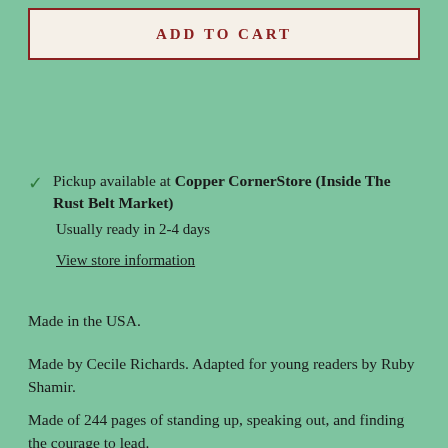ADD TO CART
Pickup available at Copper CornerStore (Inside The Rust Belt Market)
Usually ready in 2-4 days
View store information
Made in the USA.
Made by Cecile Richards. Adapted for young readers by Ruby Shamir.
Made of 244 pages of standing up, speaking out, and finding the courage to lead.